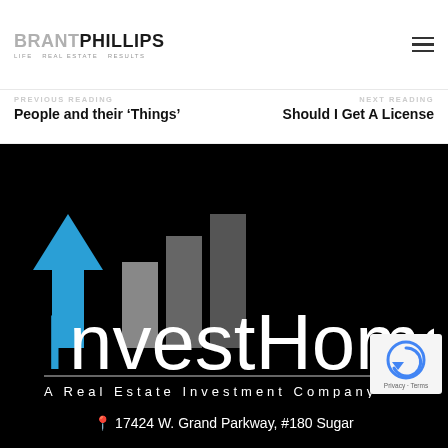BRANTPHILLIPS – Life Real Estate Results
PREVIOUS READING
People and their ‘Things’
NEXT READING
Should I Get A License
[Figure (logo): InvestHomePro logo on black background – blue arrow/house icon with grey bar chart, large white text 'InvestHomePro', subtitle 'A Real Estate Investment Company']
17424 W. Grand Parkway, #180 Sugar